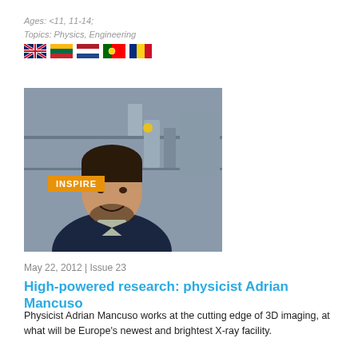Ages: <11, 11-14;
Topics: Physics, Engineering
[Figure (photo): Five country flags: UK, Lithuania, Netherlands, Portugal, Romania]
[Figure (photo): Photo of physicist Adrian Mancuso in a laboratory setting, wearing a dark jacket, with an INSPIRE badge overlay]
May 22, 2012 | Issue 23
High-powered research: physicist Adrian Mancuso
Physicist Adrian Mancuso works at the cutting edge of 3D imaging, at what will be Europe's newest and brightest X-ray facility.